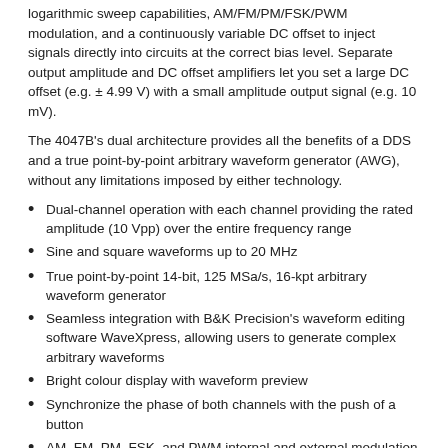logarithmic sweep capabilities, AM/FM/PM/FSK/PWM modulation, and a continuously variable DC offset to inject signals directly into circuits at the correct bias level. Separate output amplitude and DC offset amplifiers let you set a large DC offset (e.g. ± 4.99 V) with a small amplitude output signal (e.g. 10 mV).
The 4047B's dual architecture provides all the benefits of a DDS and a true point-by-point arbitrary waveform generator (AWG), without any limitations imposed by either technology.
Dual-channel operation with each channel providing the rated amplitude (10 Vpp) over the entire frequency range
Sine and square waveforms up to 20 MHz
True point-by-point 14-bit, 125 MSa/s, 16-kpt arbitrary waveform generator
Seamless integration with B&K Precision's waveform editing software WaveXpress, allowing users to generate complex arbitrary waveforms
Bright colour display with waveform preview
Synchronize the phase of both channels with the push of a button
AM, FM, PM, FSK, and PWM internal and external modulation capabilities
Gate and burst mode
Low-jitter square wave generation for simulating reliable clock signals, generating triggers, or validating serial data buses